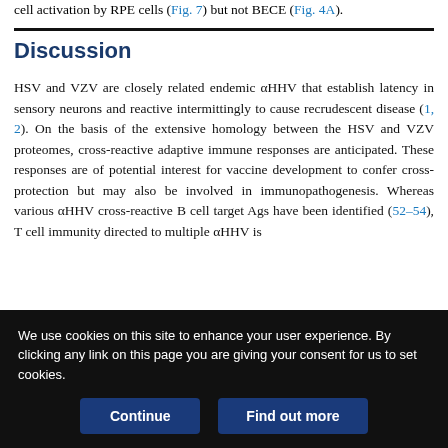cell activation by RPE cells (Fig. 7) but not BECE (Fig. 4A).
Discussion
HSV and VZV are closely related endemic αHHV that establish latency in sensory neurons and reactive intermittingly to cause recrudescent disease (1, 2). On the basis of the extensive homology between the HSV and VZV proteomes, cross-reactive adaptive immune responses are anticipated. These responses are of potential interest for vaccine development to confer cross-protection but may also be involved in immunopathogenesis. Whereas various αHHV cross-reactive B cell target Ags have been identified (52–54), T cell immunity directed to multiple αHHV is
We use cookies on this site to enhance your user experience. By clicking any link on this page you are giving your consent for us to set cookies.